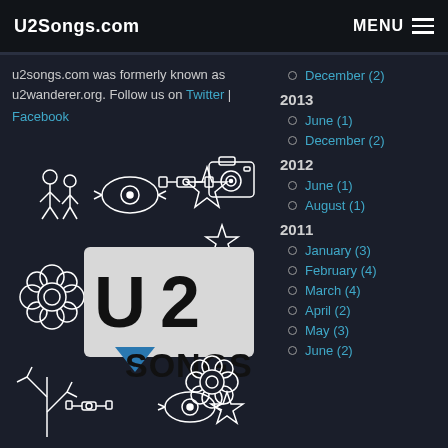U2Songs.com | MENU
u2songs.com was formerly known as u2wanderer.org. Follow us on Twitter | Facebook
[Figure (logo): U2Songs logo with illustrated icons including astronaut, stars, flower, camera, satellite, and other doodle-style drawings around the U2Songs text logo with a blue triangle]
December (2)
2013
June (1)
December (2)
2012
June (1)
August (1)
2011
January (3)
February (4)
March (4)
April (2)
May (3)
June (2)